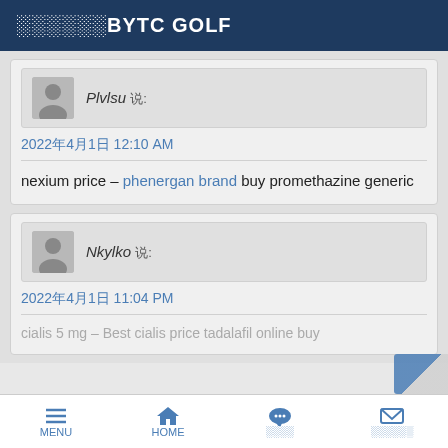░░░░░░BYTC GOLF
Plvlsu 说:
2022年4月1日 12:10 AM
nexium price – phenergan brand buy promethazine generic
Nkylko 说:
2022年4月1日 11:04 PM
cialis 5 mg – Best cialis price tadalafil online buy
MENU  HOME  ░░░░  ░░░░░░